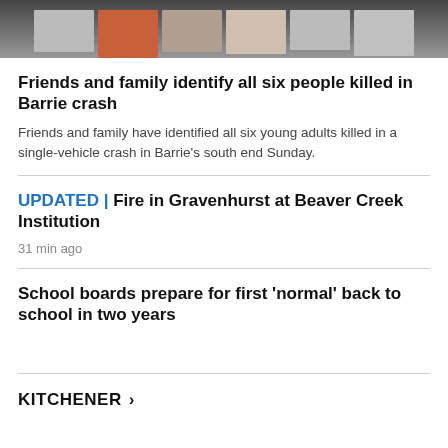[Figure (photo): Cropped photo strip showing a collage of portraits of people, partially visible at top of page]
Friends and family identify all six people killed in Barrie crash
Friends and family have identified all six young adults killed in a single-vehicle crash in Barrie’s south end Sunday.
UPDATED | Fire in Gravenhurst at Beaver Creek Institution
31 min ago
School boards prepare for first 'normal' back to school in two years
KITCHENER >